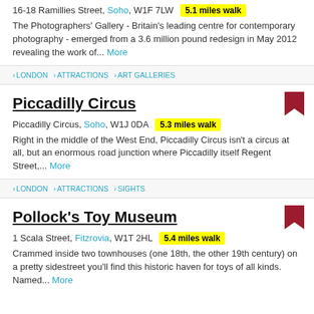16-18 Ramillies Street, Soho, W1F 7LW  5.1 miles walk
The Photographers' Gallery - Britain's leading centre for contemporary photography - emerged from a 3.6 million pound redesign in May 2012 revealing the work of...  More
> LONDON > ATTRACTIONS > ART GALLERIES
Piccadilly Circus
Piccadilly Circus, Soho, W1J 0DA  5.3 miles walk
Right in the middle of the West End, Piccadilly Circus isn't a circus at all, but an enormous road junction where Piccadilly itself Regent Street,...  More
> LONDON > ATTRACTIONS > SIGHTS
Pollock's Toy Museum
1 Scala Street, Fitzrovia, W1T 2HL  5.4 miles walk
Crammed inside two townhouses (one 18th, the other 19th century) on a pretty sidestreet you'll find this historic haven for toys of all kinds. Named...  More